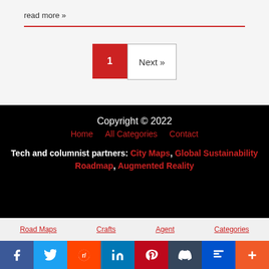read more »
1   Next »
Copyright © 2022
Home   All Categories   Contact
Tech and columnist partners: City Maps, Global Sustainability Roadmap, Augmented Reality
Road Maps   Crafts   Agent   Categories
f  twitter  reddit  in  pinterest  tumblr  trello  +